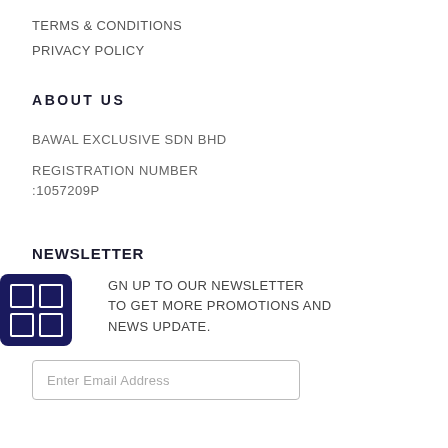TERMS & CONDITIONS
PRIVACY POLICY
ABOUT US
BAWAL EXCLUSIVE SDN BHD
REGISTRATION NUMBER :1057209P
NEWSLETTER
SIGN UP TO OUR NEWSLETTER TO GET MORE PROMOTIONS AND NEWS UPDATE.
Enter Email Address